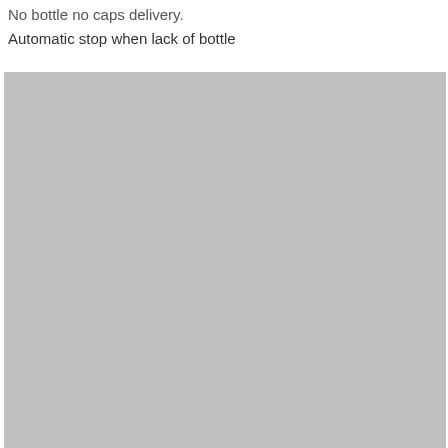No bottle no caps delivery.
Automatic stop when lack of bottle
[Figure (photo): A large gray placeholder image representing a photograph or illustration related to the bottle capping mechanism or equipment.]